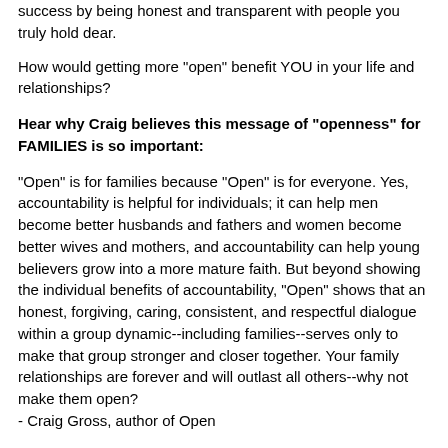success by being honest and transparent with people you truly hold dear.
How would getting more "open" benefit YOU in your life and relationships?
Hear why Craig believes this message of "openness" for FAMILIES is so important:
"Open" is for families because "Open" is for everyone. Yes, accountability is helpful for individuals; it can help men become better husbands and fathers and women become better wives and mothers, and accountability can help young believers grow into a more mature faith. But beyond showing the individual benefits of accountability, "Open" shows that an honest, forgiving, caring, consistent, and respectful dialogue within a group dynamic--including families--serves only to make that group stronger and closer together. Your family relationships are forever and will outlast all others--why not make them open?
- Craig Gross, author of Open